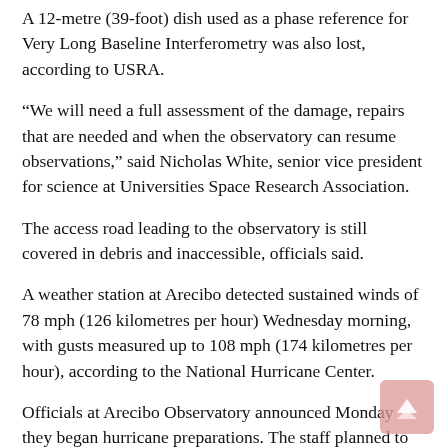A 12-metre (39-foot) dish used as a phase reference for Very Long Baseline Interferometry was also lost, according to USRA.
“We will need a full assessment of the damage, repairs that are needed and when the observatory can resume observations,” said Nicholas White, senior vice president for science at Universities Space Research Association.
The access road leading to the observatory is still covered in debris and inaccessible, officials said.
A weather station at Arecibo detected sustained winds of 78 mph (126 kilometres per hour) Wednesday morning, with gusts measured up to 108 mph (174 kilometres per hour), according to the National Hurricane Center.
Officials at Arecibo Observatory announced Monday they began hurricane preparations. The staff planned to secure the telescope, facilities and research equipment.